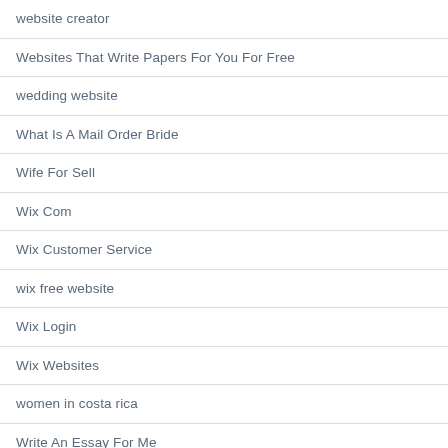website creator
Websites That Write Papers For You For Free
wedding website
What Is A Mail Order Bride
Wife For Sell
Wix Com
Wix Customer Service
wix free website
Wix Login
Wix Websites
women in costa rica
Write An Essay For Me